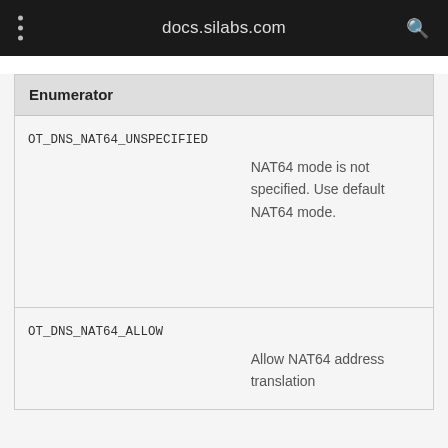docs.silabs.com
| Enumerator |
| --- |
| OT_DNS_NAT64_UNSPECIFIED | NAT64 mode is not specified. Use default NAT64 mode. |
| OT_DNS_NAT64_ALLOW | Allow NAT64 address translation |